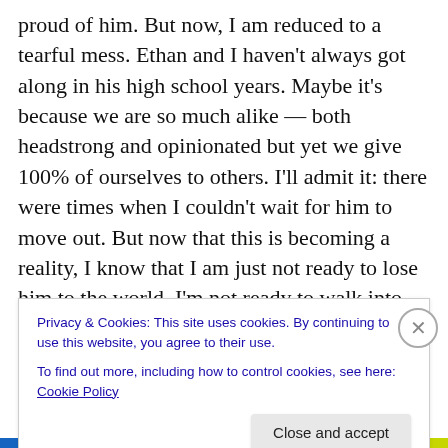proud of him. But now, I am reduced to a tearful mess. Ethan and I haven't always got along in his high school years. Maybe it's because we are so much alike — both headstrong and opinionated but yet we give 100% of ourselves to others. I'll admit it: there were times when I couldn't wait for him to move out. But now that this is becoming a reality, I know that I am just not ready to lose him to the world. I'm not ready to walk into his empty room (which will most likely turn into his room/guest suite next fall) and not trip over piles of dirty laundry. I'm not ready to have nothing to remind him about, all the time. I am not
Privacy & Cookies: This site uses cookies. By continuing to use this website, you agree to their use.
To find out more, including how to control cookies, see here: Cookie Policy